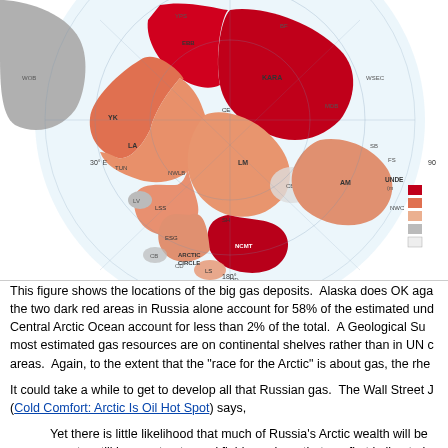[Figure (map): Polar projection map of the Arctic showing locations of undiscovered gas deposits. Regions colored in dark red, medium red, salmon/orange, and gray indicating varying levels of undiscovered gas resources. Labels include basin names such as AM, LM, CB, ESG, NCMT, LSS, LS, HD, ARCTIC CIRCLE, and degree markers like 30°E, 90°, 180°. A partial legend on the right side shows color scale labeled UNDE (billions of cubic feet, metric).]
This figure shows the locations of the big gas deposits. Alaska does OK again, but the two dark red areas in Russia alone account for 58% of the estimated undiscovered. Central Arctic Ocean account for less than 2% of the total. A Geological Survey found most estimated gas resources are on continental shelves rather than in UN contested areas. Again, to the extent that the "race for the Arctic" is about gas, the rhe...
It could take a while to get to develop all that Russian gas. The Wall Street J... (Cold Comfort: Arctic Is Oil Hot Spot) says,
Yet there is little likelihood that much of Russia's Arctic wealth will be... country still has vast untapped fields onshore that are first in line to b...